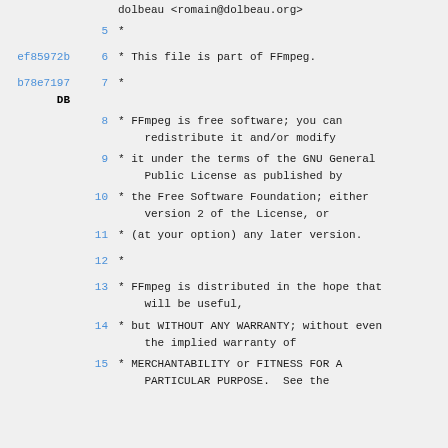dolbeau <romain@dolbeau.org>
5    *
ef85972b 6    * This file is part of FFmpeg.
b78e7197 7    *
DB
8    * FFmpeg is free software; you can redistribute it and/or modify
9    * it under the terms of the GNU General Public License as published by
10   * the Free Software Foundation; either version 2 of the License, or
11   * (at your option) any later version.
12   *
13   * FFmpeg is distributed in the hope that will be useful,
14   * but WITHOUT ANY WARRANTY; without even the implied warranty of
15   * MERCHANTABILITY or FITNESS FOR A PARTICULAR PURPOSE.  See the